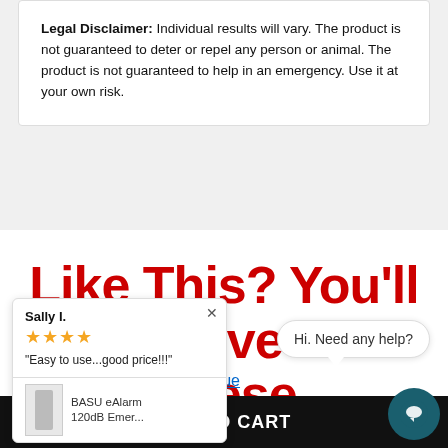Legal Disclaimer: Individual results will vary. The product is not guaranteed to deter or repel any person or animal. The product is not guaranteed to help in an emergency. Use it at your own risk.
Like This? You'll Love These
Blue
Sally I. ★★★★ "Easy to use...good price!!!" BASU eAlarm 120dB Emer...
Hi. Need any help?
ADD TO CART